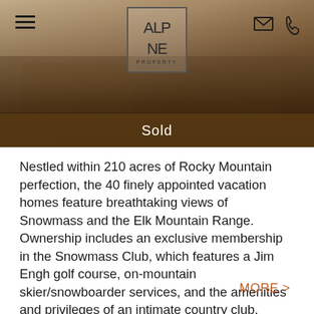[Figure (photo): Header photo of a luxury interior room with warm brown tones, serving as background for the Alpine Property logo and navigation]
Alpine Property — navigation header with hamburger menu, Alpine Property logo, email icon, phone icon
Sold
Nestled within 210 acres of Rocky Mountain perfection, the 40 finely appointed vacation homes feature breathtaking views of Snowmass and the Elk Mountain Range. Ownership includes an exclusive membership in the Snowmass Club, which features a Jim Engh golf course, on-mountain skier/snowboarder services, and the amenities and privileges of an intimate country club. Winter Weeks 2015 / 2016:  3/11/16 - 3/18/16;...
MORE >